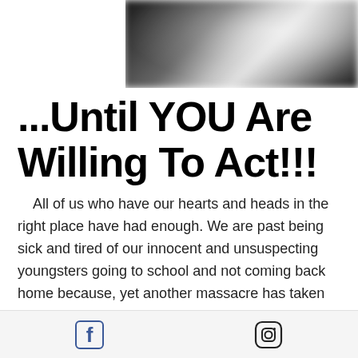[Figure (photo): Blurred photo banner showing people in background, cropped at top of page]
...Until YOU Are Willing To Act!!!
All of us who have our hearts and heads in the right place have had enough. We are past being sick and tired of our innocent and unsuspecting youngsters going to school and not coming back home because, yet another massacre has taken their lives. The people who have been elected to
Facebook and Instagram social media icons